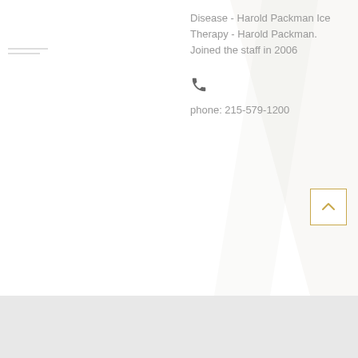Disease - Harold Packman Ice Therapy - Harold Packman. Joined the staff in 2006
phone: 215-579-1200
[Figure (other): Decorative diagonal white stripe overlay on right side of page]
[Figure (other): Back to top button with upward chevron arrow inside a gold/tan border square]